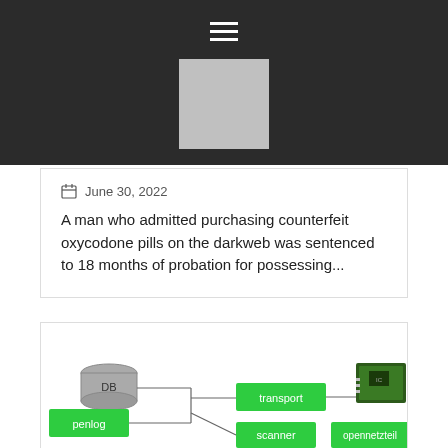[Figure (other): Dark navigation header bar with hamburger menu icon and a gray square logo placeholder]
June 30, 2022
A man who admitted purchasing counterfeit oxycodone pills on the darkweb was sentenced to 18 months of probation for possessing...
[Figure (flowchart): Network/system architecture flowchart showing nodes: DB (database cylinder), penlog, transport, scanner, opennetzteil, and a hardware circuit board image, connected by lines]